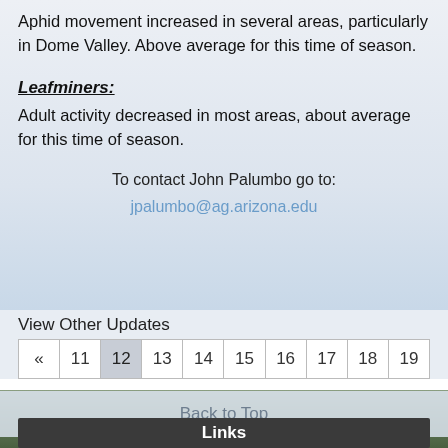Aphid movement increased in several areas, particularly in Dome Valley. Above average for this time of season.
Leafminers:
Adult activity decreased in most areas, about average for this time of season.
To contact John Palumbo go to: jpalumbo@ag.arizona.edu
View Other Updates
« 11 12 13 14 15 16 17 18 19
Back to Top
Links